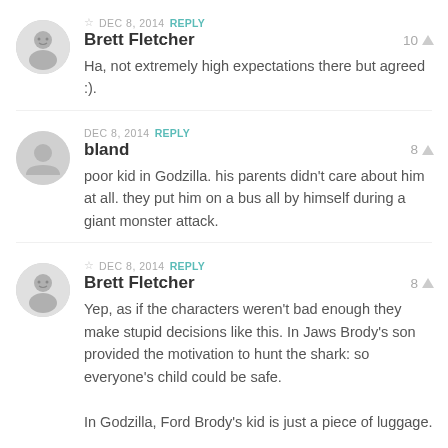☆ DEC 8, 2014 REPLY
Brett Fletcher
Ha, not extremely high expectations there but agreed :).
DEC 8, 2014 REPLY
bland
poor kid in Godzilla. his parents didn't care about him at all. they put him on a bus all by himself during a giant monster attack.
☆ DEC 8, 2014 REPLY
Brett Fletcher
Yep, as if the characters weren't bad enough they make stupid decisions like this. In Jaws Brody's son provided the motivation to hunt the shark: so everyone's child could be safe.

In Godzilla, Ford Brody's kid is just a piece of luggage.